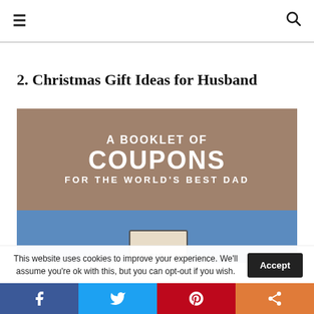☰ [navigation] 🔍 [search]
2. Christmas Gift Ideas for Husband
[Figure (photo): An image showing a coupon booklet gift with text 'A BOOKLET OF COUPONS FOR THE WORLD'S BEST DAD' on a brown/tan background, with a blue lower section showing the physical coupon book.]
This website uses cookies to improve your experience. We'll assume you're ok with this, but you can opt-out if you wish.
Accept